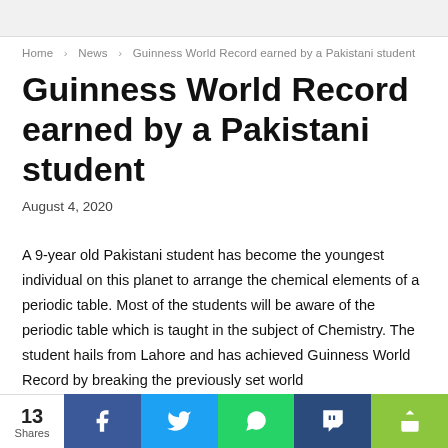Home  News  Guinness World Record earned by a Pakistani student
Guinness World Record earned by a Pakistani student
August 4, 2020
A 9-year old Pakistani student has become the youngest individual on this planet to arrange the chemical elements of a periodic table. Most of the students will be aware of the periodic table which is taught in the subject of Chemistry. The student hails from Lahore and has achieved Guinness World Record by breaking the previously set world